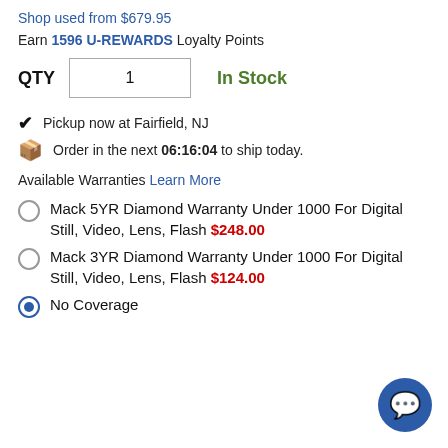Shop used from $679.95
Earn 1596 U-REWARDS Loyalty Points
QTY  1   In Stock
Pickup now at Fairfield, NJ
Order in the next 06:16:04 to ship today.
Available Warranties Learn More
Mack 5YR Diamond Warranty Under 1000 For Digital Still, Video, Lens, Flash $248.00
Mack 3YR Diamond Warranty Under 1000 For Digital Still, Video, Lens, Flash $124.00
No Coverage